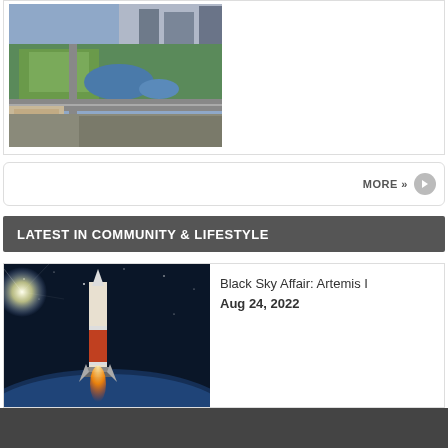[Figure (photo): Aerial view of a city park area with roads, green spaces, a pond, and buildings]
MORE »
LATEST IN COMMUNITY & LIFESTYLE
[Figure (photo): Rocket (Artemis I / SLS) launching into space against a blue Earth horizon and sunlit sky]
Black Sky Affair: Artemis I
Aug 24, 2022